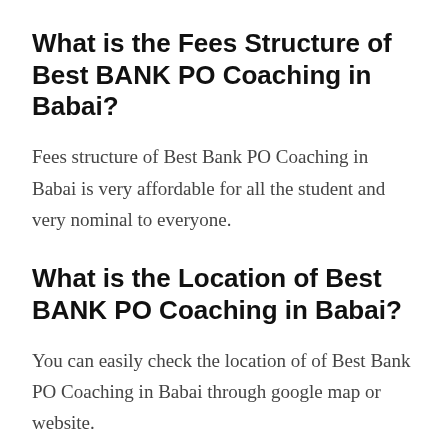What is the Fees Structure of Best BANK PO Coaching in Babai?
Fees structure of Best Bank PO Coaching in Babai is very affordable for all the student and very nominal to everyone.
What is the Location of Best BANK PO Coaching in Babai?
You can easily check the location of of Best Bank PO Coaching in Babai through google map or website.